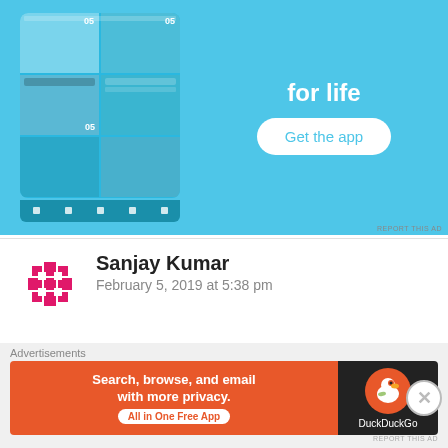[Figure (screenshot): Mobile app advertisement with blue background showing phone mockup with photo tiles and 'for life' text with 'Get the app' button]
REPORT THIS AD
Sanjay Kumar
February 5, 2019 at 5:38 pm
Thank you so much Stefan!
★ Like
REPLY
Advertisements
[Figure (screenshot): DuckDuckGo advertisement: 'Search, browse, and email with more privacy. All in One Free App' with DuckDuckGo logo on dark background]